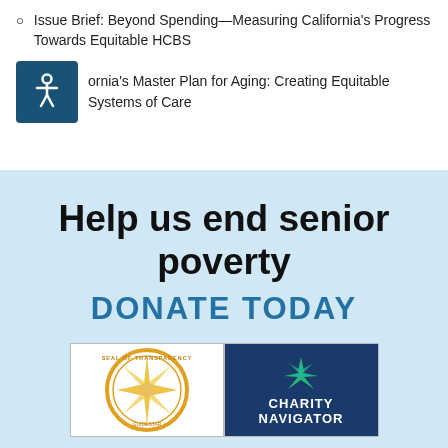Issue Brief: Beyond Spending—Measuring California's Progress Towards Equitable HCBS
California's Master Plan for Aging: Creating Equitable Systems of Care
Help us end senior poverty
DONATE TODAY
[Figure (logo): Seal of Transparency logo (golden circular badge with compass star design)]
[Figure (logo): Charity Navigator logo (dark blue background with green and teal star/pinwheel design)]